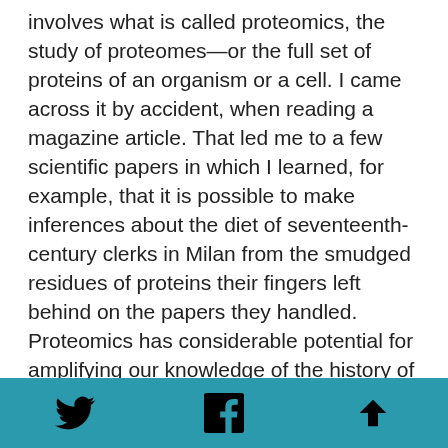involves what is called proteomics, the study of proteomes—or the full set of proteins of an organism or a cell. I came across it by accident, when reading a magazine article. That led me to a few scientific papers in which I learned, for example, that it is possible to make inferences about the diet of seventeenth-century clerks in Milan from the smudged residues of proteins their fingers left behind on the papers they handled. Proteomics has considerable potential for amplifying our knowledge of the history of food, nutrition, and disease, especially for times and places where the textual record is thin or non-existent. At the moment the chemistry involved is fairly expensive, although that might change, but it will always be the case that only some sorts of materials store evidence of proteins across the centuries. So proteomics, like every form of research, has its limits. Still, to me it is fascinating that
Twitter | Facebook | Scroll to top